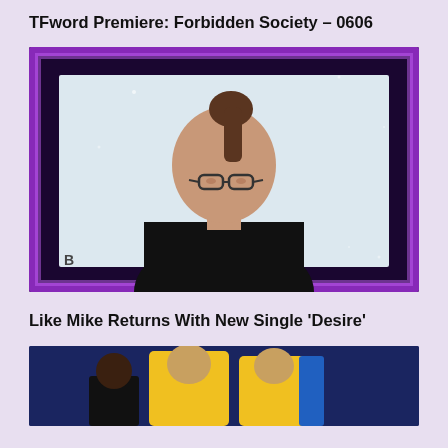TFword Premiere: Forbidden Society – 0606
[Figure (photo): A person with hair in a bun, wearing glasses and a black t-shirt, looking downward. The image has a purple/violet glowing border frame on a dark background, video thumbnail style.]
Like Mike Returns With New Single 'Desire'
[Figure (photo): Partial image showing figures in yellow jackets/costumes with blue background, cropped at bottom of page.]